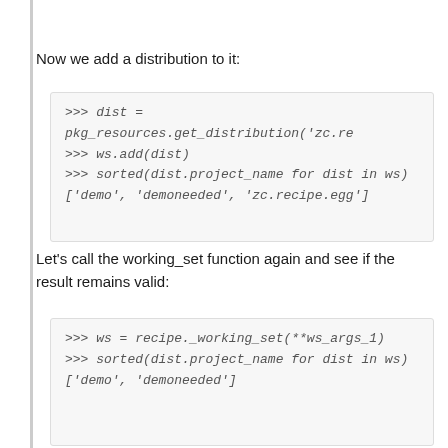Now we add a distribution to it:
>>> dist = pkg_resources.get_distribution('zc.re
>>> ws.add(dist)
>>> sorted(dist.project_name for dist in ws)
['demo', 'demoneeded', 'zc.recipe.egg']
Let's call the working_set function again and see if the result remains valid:
>>> ws = recipe._working_set(**ws_args_1)
>>> sorted(dist.project_name for dist in ws)
['demo', 'demoneeded']